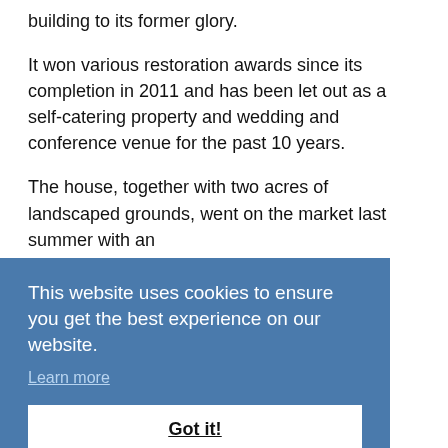building to its former glory.
It won various restoration awards since its completion in 2011 and has been let out as a self-catering property and wedding and conference venue for the past 10 years.
The house, together with two acres of landscaped grounds, went on the market last summer with an
This website uses cookies to ensure you get the best experience on our website.
Learn more
Got it!
dispersed in line with our charitable purpose.